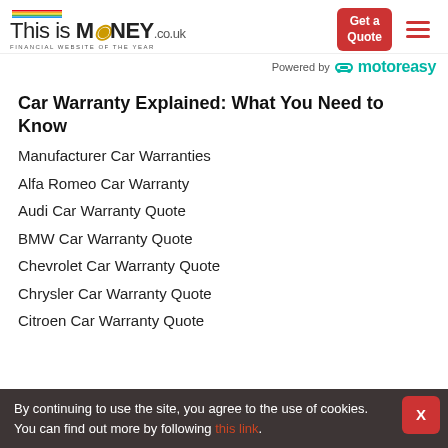This is MONEY.co.uk — FINANCIAL WEBSITE OF THE YEAR | Get a Quote | Menu
Powered by motoreasy
Car Warranty Explained: What You Need to Know
Manufacturer Car Warranties
Alfa Romeo Car Warranty
Audi Car Warranty Quote
BMW Car Warranty Quote
Chevrolet Car Warranty Quote
Chrysler Car Warranty Quote
Citroen Car Warranty Quote
By continuing to use the site, you agree to the use of cookies. You can find out more by following this link.